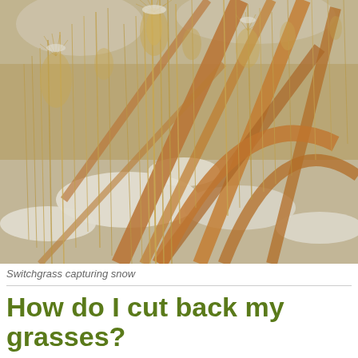[Figure (photo): Close-up photograph of switchgrass with golden/tan dried grass stems and seed heads covered in snow. The background shows snow on the ground between the grass clumps. The overall tones are warm golden browns and whites from the snow.]
Switchgrass capturing snow
How do I cut back my grasses?
After leaving the tall grasses through winter, the approaching i...